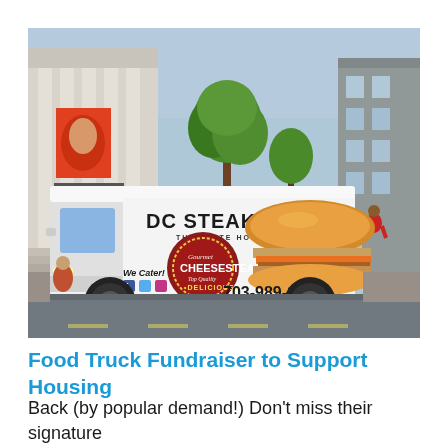[Figure (photo): A white food truck van with 'DC Steakholders - The White House of Sandwiches' branding, featuring a large cheesesteak image and the phone number 703-989-1490, parked on a city street with buildings and trees in the background]
Food Truck Fundraiser to Support Housing
Back (by popular demand!) Don't miss their signature